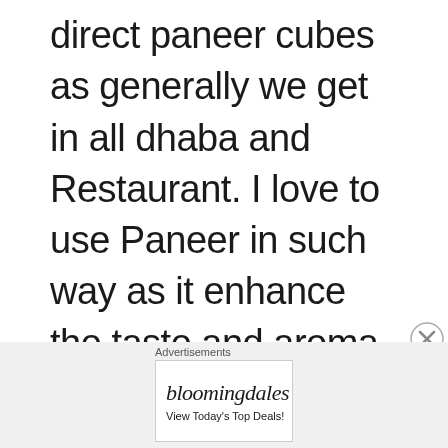direct paneer cubes as generally we get in all dhaba and Restaurant. I love to use Paneer in such way as it enhance the taste and aroma .
[Figure (other): Close button (X in circle) for advertisement]
Advertisements
[Figure (other): Bloomingdale's advertisement banner with logo, 'View Today's Top Deals!' text, woman with wide-brim hat, and 'SHOP NOW >' button]